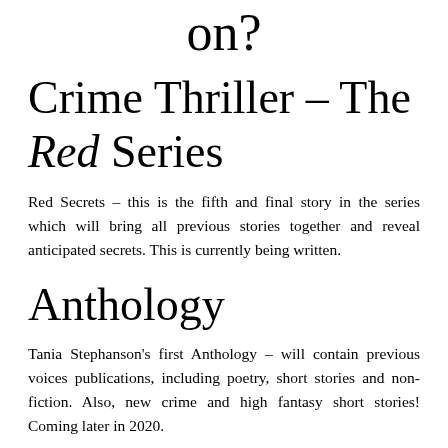on?
Crime Thriller – The Red Series
Red Secrets – this is the fifth and final story in the series which will bring all previous stories together and reveal anticipated secrets. This is currently being written.
Anthology
Tania Stephanson's first Anthology – will contain previous voices publications, including poetry, short stories and non-fiction. Also, new crime and high fantasy short stories! Coming later in 2020.
Non-Fiction